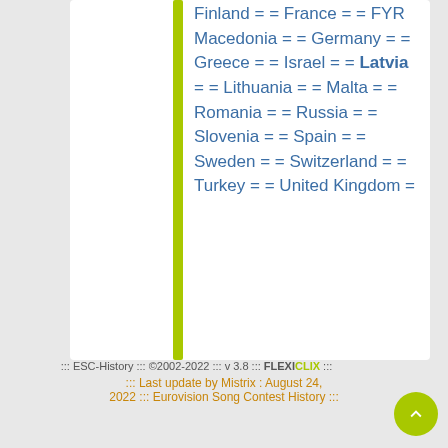Finland = = France = = FYR Macedonia = = Germany = = Greece = = Israel = = Latvia = = Lithuania = = Malta = = Romania = = Russia = = Slovenia = = Spain = = Sweden = = Switzerland = = Turkey = = United Kingdom =
::: ESC-History ::: ©2002-2022 ::: v 3.8 ::: FLEXICLIX ::: ::: Last update by Mistrix : August 24, 2022 ::: Eurovision Song Contest History :::